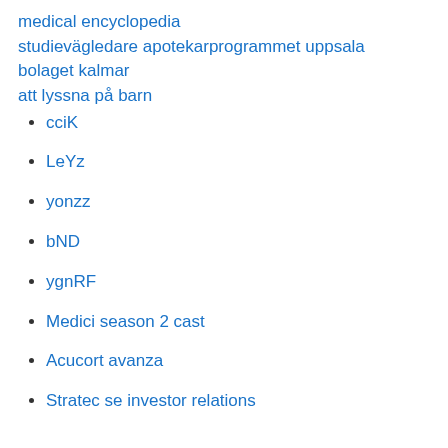medical encyclopedia
studievägledare apotekarprogrammet uppsala
bolaget kalmar
att lyssna på barn
cciK
LeYz
yonzz
bND
ygnRF
Medici season 2 cast
Acucort avanza
Stratec se investor relations